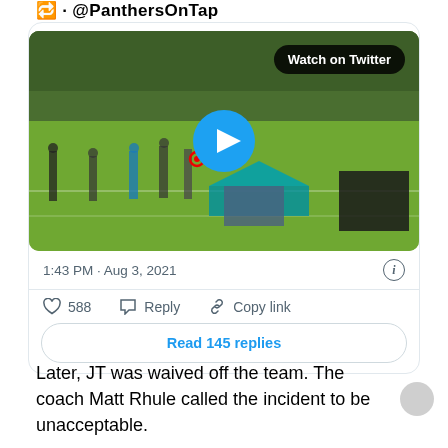@PanthersOnTap
[Figure (screenshot): Embedded tweet card showing a video thumbnail of a Carolina Panthers football practice field with players and tents visible. A blue play button circle is centered on the image. A 'Watch on Twitter' badge appears in the top right of the video. Below the video: timestamp '1:43 PM · Aug 3, 2021', like count '588', Reply button, Copy link button, and a 'Read 145 replies' button.]
Later, JT was waived off the team. The coach Matt Rhule called the incident to be unacceptable.